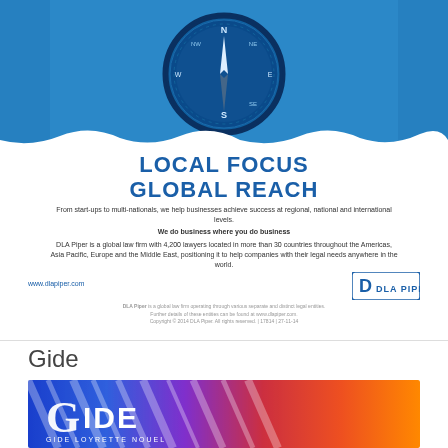[Figure (photo): Blue-tinted compass image used as header for DLA Piper advertisement]
LOCAL FOCUS
GLOBAL REACH
From start-ups to multi-nationals, we help businesses achieve success at regional, national and international levels.
We do business where you do business
DLA Piper is a global law firm with 4,200 lawyers located in more than 30 countries throughout the Americas, Asia Pacific, Europe and the Middle East, positioning it to help companies with their legal needs anywhere in the world.
www.dlapiper.com
[Figure (logo): DLA Piper logo with square icon and text]
DLA Piper is a global law firm operating through various separate and distinct legal entities. Further details of these entities can be found at www.dlapiper.com. Copyright © 2014 DLA Piper. All rights reserved. | 17814 | 27-11-14
Gide
[Figure (photo): Gide Loyrette Nouel colorful striped banner advertisement]